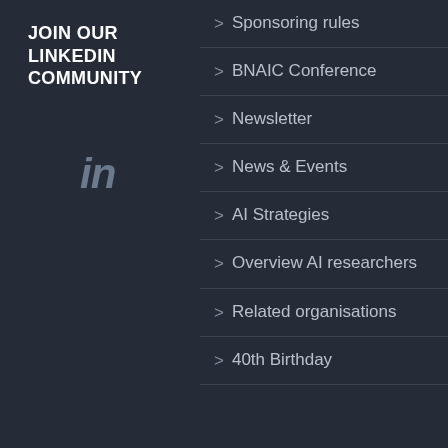JOIN OUR LINKEDIN COMMUNITY
[Figure (logo): LinkedIn 'in' logo in gray italic style]
> Sponsoring rules
> BNAIC Conference
> Newsletter
> News & Events
> AI Strategies
> Overview AI researchers
> Related organisations
> 40th Birthday